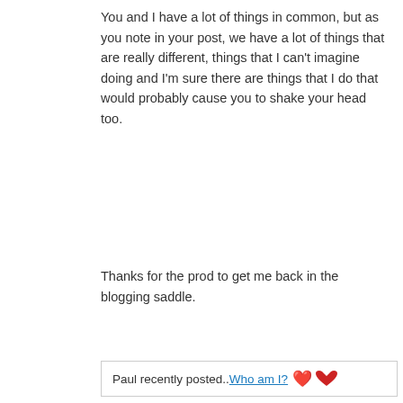You and I have a lot of things in common, but as you note in your post, we have a lot of things that are really different, things that I can't imagine doing and I'm sure there are things that I do that would probably cause you to shake your head too.
Thanks for the prod to get me back in the blogging saddle.
Paul recently posted..Who am I?
Reply
P.J. says
January 5, 2016
Glad to hear you'll be joining us, Paul. I liked your posts last year. Hopefully this helps you on a good